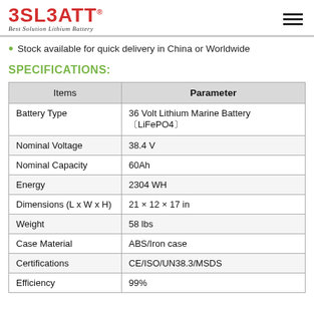3SLBATT - Best Solution Lithium Battery
Stock available for quick delivery in China or Worldwide
SPECIFICATIONS:
| Items | Parameter |
| --- | --- |
| Battery Type | 36 Volt Lithium Marine Battery [LiFePO4] |
| Nominal Voltage | 38.4 V |
| Nominal Capacity | 60Ah |
| Energy | 2304 WH |
| Dimensions (L x W x H) | 21 × 12 × 17 in |
| Weight | 58 lbs |
| Case Material | ABS/Iron case |
| Certifications | CE/ISO/UN38.3/MSDS |
| Efficiency | 99% |